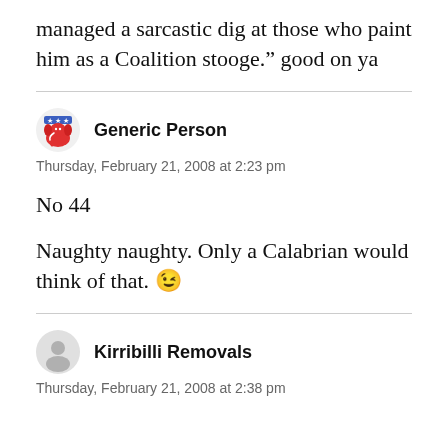managed a sarcastic dig at those who paint him as a Coalition stooge.” good on ya
Generic Person
Thursday, February 21, 2008 at 2:23 pm
No 44
Naughty naughty. Only a Calabrian would think of that. 😉
Kirribilli Removals
Thursday, February 21, 2008 at 2:38 pm